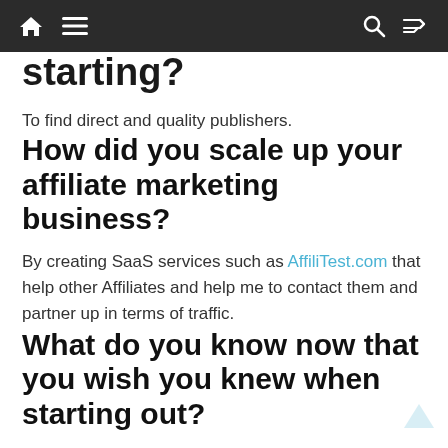[navigation bar with home, menu, search, shuffle icons]
starting?
To find direct and quality publishers.
How did you scale up your affiliate marketing business?
By creating SaaS services such as AffiliTest.com that help other Affiliates and help me to contact them and partner up in terms of traffic.
What do you know now that you wish you knew when starting out?
That I need to be patient and that failure is part of each success story.